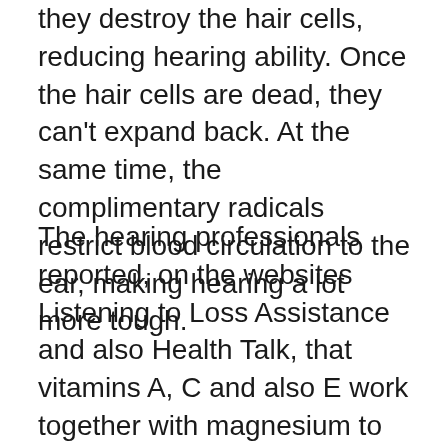they destroy the hair cells, reducing hearing ability. Once the hair cells are dead, they can't expand back. At the same time, the complimentary radicals restrict blood circulation to the ear, making hearing a lot more tough.
The hearing professionals reported, on the websites Listening to Loss Assistance and also Health Talk, that vitamins A, C and also E work together with magnesium to stop the complimentary radicals from creating in response to loud noise. The mix stopped an excellent 80 percent of noise-induced hearing loss. While the vitamins and also magnesium taken alone slightly helped hearing loss, when assembled– they were dramatically extra efficient!